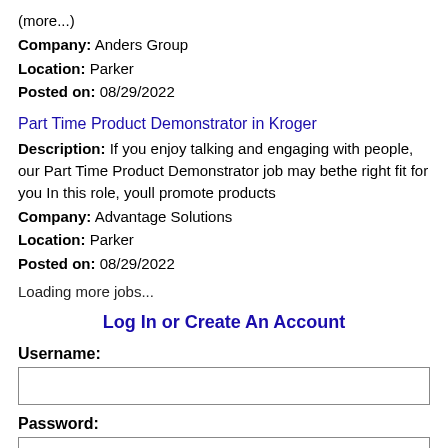(more...)
Company: Anders Group
Location: Parker
Posted on: 08/29/2022
Part Time Product Demonstrator in Kroger
Description: If you enjoy talking and engaging with people, our Part Time Product Demonstrator job may bethe right fit for you In this role, youll promote products
Company: Advantage Solutions
Location: Parker
Posted on: 08/29/2022
Loading more jobs...
Log In or Create An Account
Username:
Password: